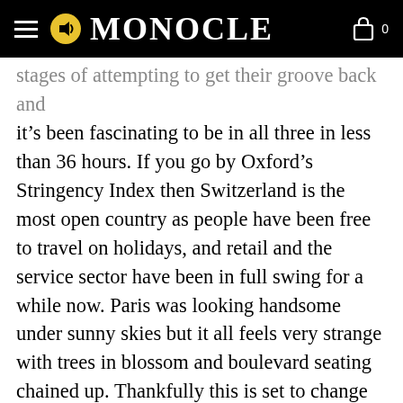MONOCLE
stages of attempting to get their groove back and it’s been fascinating to be in all three in less than 36 hours. If you go by Oxford’s Stringency Index then Switzerland is the most open country as people have been free to travel on holidays, and retail and the service sector have been in full swing for a while now. Paris was looking handsome under sunny skies but it all feels very strange with trees in blossom and boulevard seating chained up. Thankfully this is set to change in two weeks. Across the Channel in London it’s a mixed picture as much has re-opened but there seems to be a new leisure class of men in their mid 30s who pedal around the